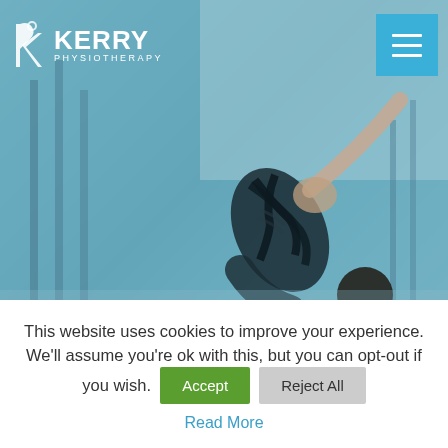[Figure (photo): Hero image of a person doing a Pilates or physiotherapy stretching exercise, wearing a black sports outfit. The image has a blue-teal color overlay. Kerry Physiotherapy website screenshot.]
This website uses cookies to improve your experience. We'll assume you're ok with this, but you can opt-out if you wish. Accept Reject All Read More